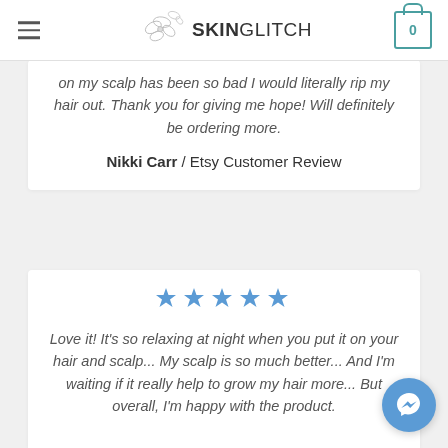SKINGLITCH
on my scalp has been so bad I would literally rip my hair out. Thank you for giving me hope! Will definitely be ordering more.
Nikki Carr / Etsy Customer Review
[Figure (other): Five blue star rating icons]
Love it! It’s so relaxing at night when you put it on your hair and scalp... My scalp is so much better... And I’m waiting if it really help to grow my hair more... But overall, I’m happy with the product.